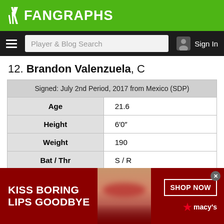FanGraphs
12. Brandon Valenzuela, C
| Signed: July 2nd Period, 2017 from Mexico (SDP) |
| Age | 21.6 |
| Height | 6’0” |
| Weight | 190 |
| Bat / Thr | S / R |
| FV | 40 |
| Tool Grades (Present/Future) |
| Hit | 30/45 |
[Figure (photo): Advertisement banner: Kiss Boring Lips Goodbye - Macy's SHOP NOW ad with a woman's face]